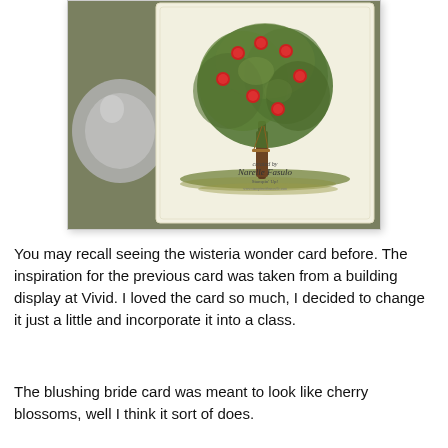[Figure (photo): A greeting card showing a large green tree with red apple-like ornaments/flowers and a small swing hanging from a branch, set against a light background with green grass strokes at the base. Text at the bottom of the card reads 'created by Narelle Fasulo Stampin Up!' with a website URL. The card is photographed on a dark green surface with a metallic silver ornament partially visible on the left.]
You may recall seeing the wisteria wonder card before. The inspiration for the previous card was taken from a building display at Vivid. I loved the card so much, I decided to change it just a little and incorporate it into a class.
The blushing bride card was meant to look like cherry blossoms, well I think it sort of does.